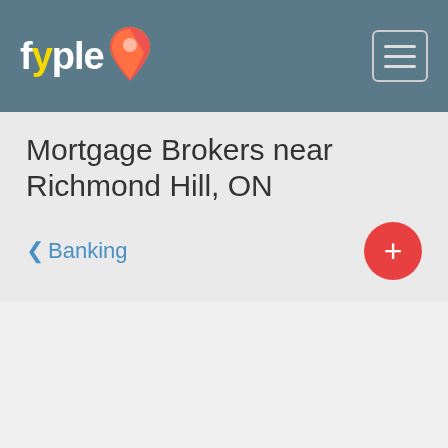fyple — Mortgage Brokers near Richmond Hill, ON
Mortgage Brokers near Richmond Hill, ON
‹ Banking
[Figure (logo): Fyple logo with map pin icon in red, yellow and green on a grey-blue header bar with hamburger menu button]